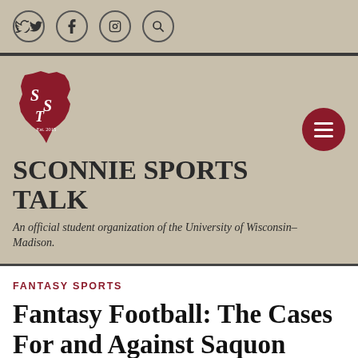Social media icons: Twitter, Facebook, Instagram, Search
[Figure (logo): Sconnie Sports Talk SST logo — Wisconsin state shape in dark red with SST Est. 2015 text]
SCONNIE SPORTS TALK
An official student organization of the University of Wisconsin–Madison.
FANTASY SPORTS
Fantasy Football: The Cases For and Against Saquon Barkley